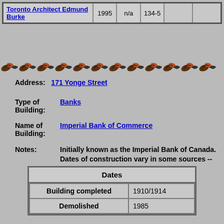| Name | Year | Status | Pages |  |  |
| --- | --- | --- | --- | --- | --- |
| Toronto Architect Edmund Burke | 1995 | n/a | 134-5 |  |  |
[Figure (illustration): Decorative horizontal border with stylized birds and leaf motifs in brown and black]
Address: 171 Yonge Street
Type of Building: Banks
Name of Building: Imperial Bank of Commerce
Notes: Initially known as the Imperial Bank of Canada. Dates of construction vary in some sources -- 1910 or 1914.
| Dates |
| --- |
| Building completed | 1910/1914 |
| Demolished | 1985 |